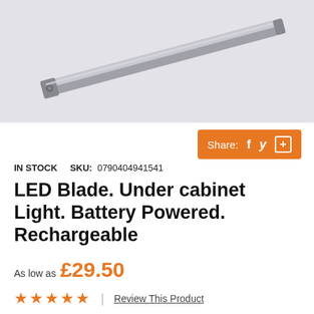[Figure (photo): A silver LED blade under cabinet light bar on a light grey/white background, photographed diagonally showing the slim profile and one end with controls.]
Share:  f  ✓  +
IN STOCK   SKU:  0790404941541
LED Blade. Under cabinet Light. Battery Powered. Rechargeable
As low as £29.50
★★★★★  |  Review This Product